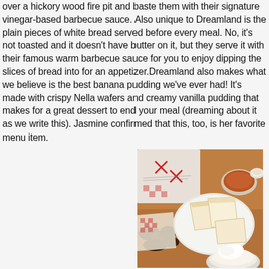over a hickory wood fire pit and baste them with their signature vinegar-based barbecue sauce. Also unique to Dreamland is the plain pieces of white bread served before every meal. No, it's not toasted and it doesn't have butter on it, but they serve it with their famous warm barbecue sauce for you to enjoy dipping the slices of bread into for an appetizer.Dreamland also makes what we believe is the best banana pudding we've ever had! It's made with crispy Nella wafers and creamy vanilla pudding that makes for a great dessert to end your meal (dreaming about it as we write this). Jasmine confirmed that this, too, is her favorite menu item.
[Figure (photo): A restaurant table with white bread slices on a plate, a bowl of barbecue sauce, checkered wax paper with food, and a bowl of what appears to be banana pudding in the foreground.]